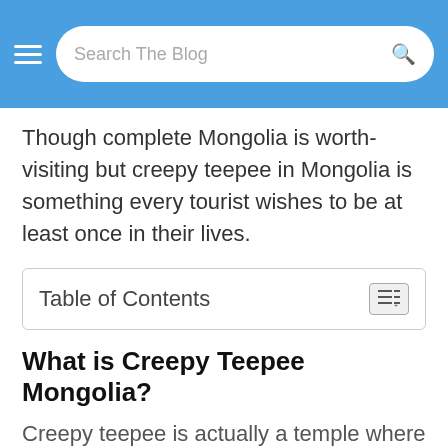Search The Blog
Though complete Mongolia is worth-visiting but creepy teepee in Mongolia is something every tourist wishes to be at least once in their lives.
Table of Contents
What is Creepy Teepee Mongolia?
Creepy teepee is actually a temple where Mongolians gather to worship their gods and pray for achieving happiness, luck, prosperity and love.
In Mongolian language, these temples are called shamanistic Ovoo or Ohoo.